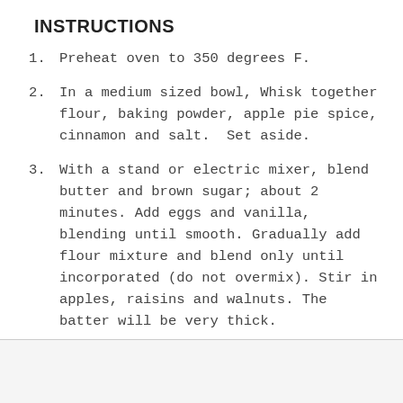INSTRUCTIONS
Preheat oven to 350 degrees F.
In a medium sized bowl, Whisk together flour, baking powder, apple pie spice, cinnamon and salt.  Set aside.
With a stand or electric mixer, blend butter and brown sugar; about 2 minutes. Add eggs and vanilla, blending until smooth. Gradually add flour mixture and blend only until incorporated (do not overmix). Stir in apples, raisins and walnuts. The batter will be very thick.